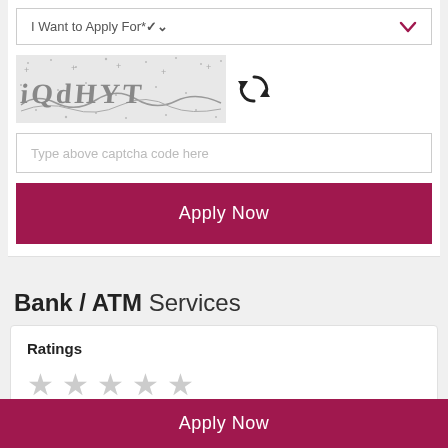[Figure (screenshot): Dropdown form field labeled 'I Want to Apply For*' with a crimson chevron on the right]
[Figure (screenshot): CAPTCHA image showing distorted text 'iQdHYT' on a noisy grey background, with a refresh icon to the right]
[Figure (screenshot): Text input field with placeholder 'Type above captcha code here']
[Figure (screenshot): Crimson 'Apply Now' button]
Bank / ATM Services
Ratings
[Figure (other): Five empty grey star rating icons]
[Figure (screenshot): Outlined 'Submit a Review' button with crimson border and text]
[Figure (screenshot): Sticky bottom bar with 'Apply Now' button in crimson]